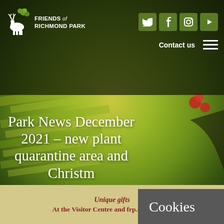Friends of Richmond Park
[Figure (screenshot): Friends of Richmond Park website screenshot showing navigation bar with logo, social media icons (Twitter, Facebook, Instagram, YouTube), Contact us link and hamburger menu, overlaid on a blurred nature/bird background. A cookie consent modal is displayed over the page.]
Park News December 2021 – new plant quarantine area and Christmas
Cookies
This site uses cookies: Find out more.
Okay, thanks
Unique gifts At the Visitor Centre and frp.org.uk/shop